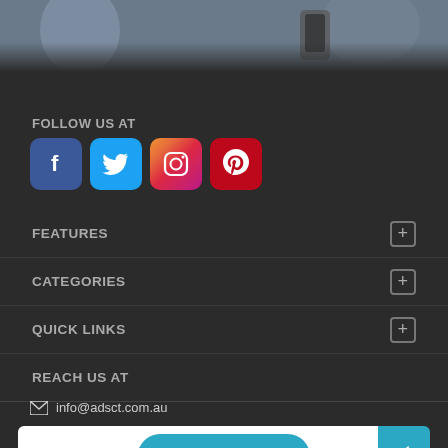[Figure (photo): Blurred photo strip at top showing people with mobile devices]
FOLLOW US AT
[Figure (infographic): Four social media icons: Facebook (blue), Twitter (light blue), Instagram (gradient), Pinterest (red)]
FEATURES
CATEGORIES
QUICK LINKS
REACH US AT
info@adsct.com.au
Enter your Email
+ Post Free Ads
Subscribe and receive the latest post!